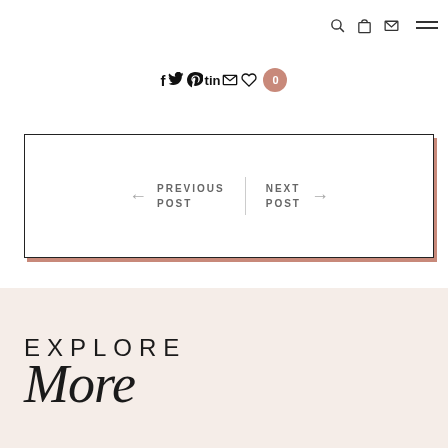Navigation icons: search, bag, email, menu
[Figure (infographic): Social sharing icons bar: f (Facebook), Twitter bird, Pinterest P, 'tin', envelope, heart, with a count bubble showing 0]
← PREVIOUS POST  |  NEXT POST →
EXPLORE More